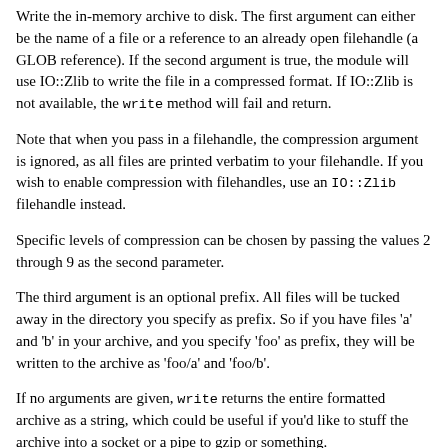Write the in-memory archive to disk. The first argument can either be the name of a file or a reference to an already open filehandle (a GLOB reference). If the second argument is true, the module will use IO::Zlib to write the file in a compressed format. If IO::Zlib is not available, the write method will fail and return.
Note that when you pass in a filehandle, the compression argument is ignored, as all files are printed verbatim to your filehandle. If you wish to enable compression with filehandles, use an IO::Zlib filehandle instead.
Specific levels of compression can be chosen by passing the values 2 through 9 as the second parameter.
The third argument is an optional prefix. All files will be tucked away in the directory you specify as prefix. So if you have files 'a' and 'b' in your archive, and you specify 'foo' as prefix, they will be written to the archive as 'foo/a' and 'foo/b'.
If no arguments are given, write returns the entire formatted archive as a string, which could be useful if you'd like to stuff the archive into a socket or a pipe to gzip or something.
$tar->add_files( @filenamelist )